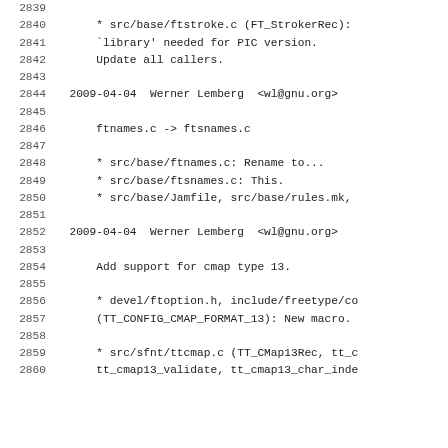2839
2840    * src/base/ftstroke.c (FT_StrokerRec):
2841      `library' needed for PIC version.
2842      Update all callers.
2843
2844  2009-04-04  Werner Lemberg  <wl@gnu.org>
2845
2846      ftnames.c -> ftsnames.c
2847
2848      * src/base/ftnames.c: Rename to...
2849      * src/base/ftsnames.c: This.
2850      * src/base/Jamfile, src/base/rules.mk,
2851
2852  2009-04-04  Werner Lemberg  <wl@gnu.org>
2853
2854      Add support for cmap type 13.
2855
2856      * devel/ftoption.h, include/freetype/co
2857      (TT_CONFIG_CMAP_FORMAT_13): New macro.
2858
2859      * src/sfnt/ttcmap.c (TT_CMap13Rec, tt_c
2860      tt_cmap13_validate, tt_cmap13_char_inde